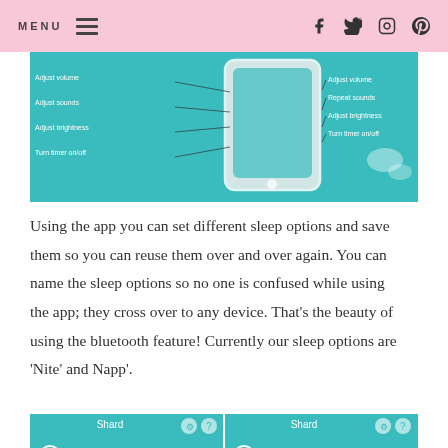MENU [hamburger icon] [facebook icon] [twitter icon] [instagram icon] [pinterest icon]
[Figure (screenshot): Screenshot of a sleep app interface showing a smartphone with labeled settings for sleep options including Adjust volume, Repeat sounds, Adjust brightness, Turn timer on/off]
Using the app you can set different sleep options and save them so you can reuse them over and over again. You can name the sleep options so no one is confused while using the app; they cross over to any device. That's the beauty of using the bluetooth feature! Currently our sleep options are 'Nite' and Napp'.
[Figure (screenshot): Two side-by-side panels of a sleep app UI showing Shard controls with power button, pill-shaped preset selector, volume controls and navigation arrows]